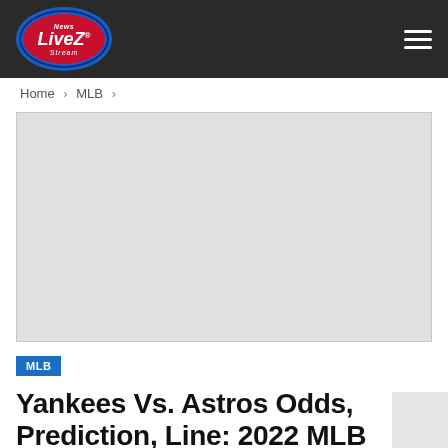News LiveZ Stream
Home > MLB >
[Figure (other): Gray placeholder advertisement image]
MLB
Yankees Vs. Astros Odds, Prediction, Line: 2022 MLB Picks